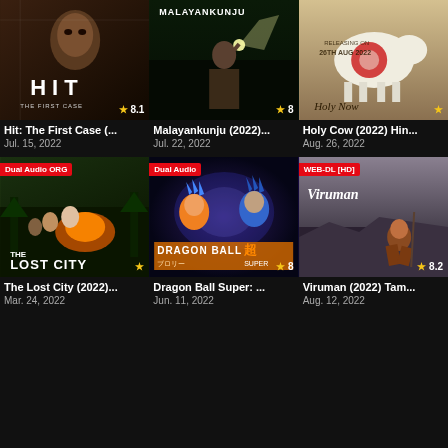[Figure (screenshot): Movie poster grid showing 6 film thumbnails with titles and dates]
Hit: The First Case (... Jul. 15, 2022 | Rating: 8.1
Malayankunju (2022)... Jul. 22, 2022 | Rating: 8
Holy Cow (2022) Hin... Aug. 26, 2022
The Lost City (2022)... Mar. 24, 2022 | Badge: Dual Audio ORG
Dragon Ball Super: ... Jun. 11, 2022 | Rating: 8 | Badge: Dual Audio
Viruman (2022) Tam... Aug. 12, 2022 | Rating: 8.2 | Badge: WEB-DL [HD]